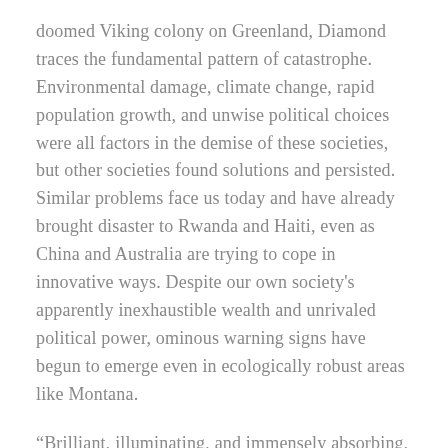doomed Viking colony on Greenland, Diamond traces the fundamental pattern of catastrophe. Environmental damage, climate change, rapid population growth, and unwise political choices were all factors in the demise of these societies, but other societies found solutions and persisted. Similar problems face us today and have already brought disaster to Rwanda and Haiti, even as China and Australia are trying to cope in innovative ways. Despite our own society's apparently inexhaustible wealth and unrivaled political power, ominous warning signs have begun to emerge even in ecologically robust areas like Montana.
“Brilliant, illuminating, and immensely absorbing, Collapse is destined to take its place as one of the essential books of our time, raising the urgent question: How can our world best avoid committing ecological suicide?
*Author Biography: Jared Diamond is a professor of